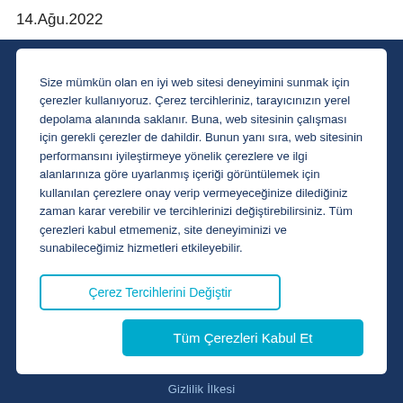14.Ağu.2022
Size mümkün olan en iyi web sitesi deneyimini sunmak için çerezler kullanıyoruz. Çerez tercihleriniz, tarayıcınızın yerel depolama alanında saklanır. Buna, web sitesinin çalışması için gerekli çerezler de dahildir. Bunun yanı sıra, web sitesinin performansını iyileştirmeye yönelik çerezlere ve ilgi alanlarınıza göre uyarlanmış içeriği görüntülemek için kullanılan çerezlere onay verip vermeyeceğinize dilediğiniz zaman karar verebilir ve tercihlerinizi değiştirebilirsiniz. Tüm çerezleri kabul etmemeniz, site deneyiminizi ve sunabileceğimiz hizmetleri etkileyebilir.
Çerez Tercihlerini Değiştir
Tüm Çerezleri Kabul Et
Gizlilik İlkesi